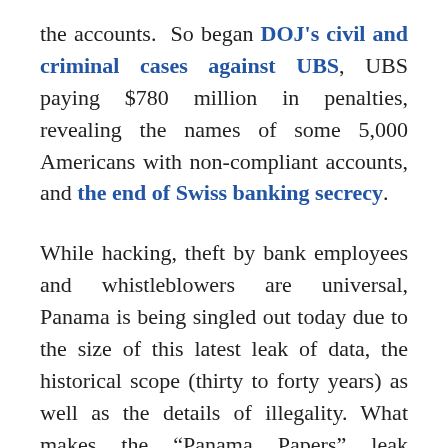the accounts. So began DOJ's civil and criminal cases against UBS, UBS paying $780 million in penalties, revealing the names of some 5,000 Americans with non-compliant accounts, and the end of Swiss banking secrecy.
While hacking, theft by bank employees and whistleblowers are universal, Panama is being singled out today due to the size of this latest leak of data, the historical scope (thirty to forty years) as well as the details of illegality. What makes the “Panama Papers” leak different are the revelations of illegality: banks apparently willing to open accounts for entities without knowing the true beneficial...